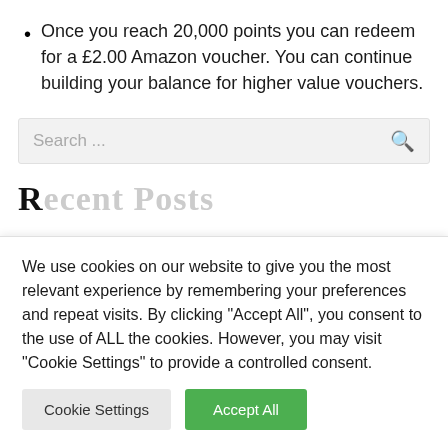Once you reach 20,000 points you can redeem for a £2.00 Amazon voucher. You can continue building your balance for higher value vouchers.
Search ...
Recent Posts
We use cookies on our website to give you the most relevant experience by remembering your preferences and repeat visits. By clicking "Accept All", you consent to the use of ALL the cookies. However, you may visit "Cookie Settings" to provide a controlled consent.